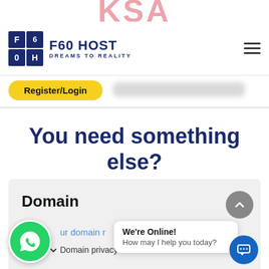[Figure (screenshot): Partial red bold text at top of page, partially cropped, appears to be a logo acronym in red]
[Figure (logo): F60 HOST logo with blue grid icon and tagline DREAMS TO REALITY]
Register/Login
You need something else?
Domain
ur domain r
Domain privacy
We're Online!
How may I help you today?
[Figure (other): WhatsApp floating button (green circle with phone icon) and blue chat widget icon]